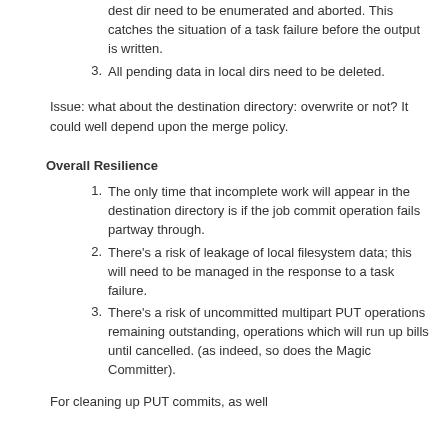dest dir need to be enumerated and aborted. This catches the situation of a task failure before the output is written.
All pending data in local dirs need to be deleted.
Issue: what about the destination directory: overwrite or not? It could well depend upon the merge policy.
Overall Resilience
The only time that incomplete work will appear in the destination directory is if the job commit operation fails partway through.
There's a risk of leakage of local filesystem data; this will need to be managed in the response to a task failure.
There's a risk of uncommitted multipart PUT operations remaining outstanding, operations which will run up bills until cancelled. (as indeed, so does the Magic Committer).
For cleaning up PUT commits, as well